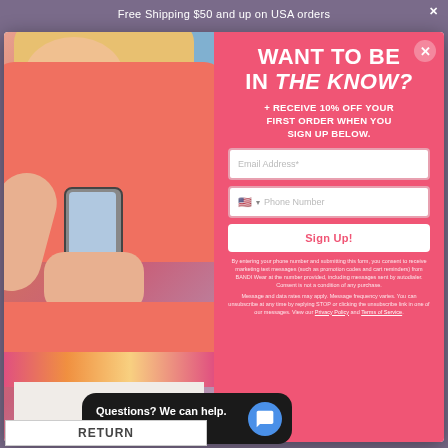Free Shipping $50 and up on USA orders
[Figure (photo): Woman in coral shirt holding a smartphone, standing outdoors near a beach]
WANT TO BE IN THE KNOW?
+ RECEIVE 10% OFF YOUR FIRST ORDER WHEN YOU SIGN UP BELOW.
Email Address*
Phone Number
Sign Up!
By entering your phone number and submitting this form, you consent to receive marketing text messages (such as promotion codes and cart reminders) from BANDI Wear at the number provided, including messages sent by autodialer. Consent is not a condition of any purchase.
Message and data rates may apply. Message frequency varies. You can unsubscribe at any time by replying STOP or clicking the unsubscribe link in one of our messages. View our Privacy Policy and Terms of Service.
Questions? We can help.
Chat with us now.
RETURN